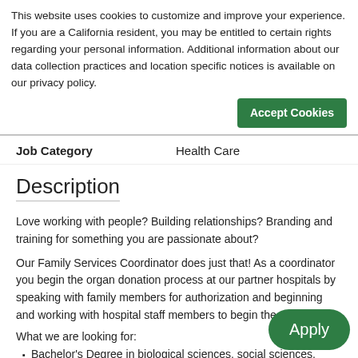This website uses cookies to customize and improve your experience. If you are a California resident, you may be entitled to certain rights regarding your personal information. Additional information about our data collection practices and location specific notices is available on our privacy policy.
Accept Cookies
| Job Category | Health Care |
| --- | --- |
Description
Love working with people?  Building relationships?  Branding and training for something you are passionate about?
Our Family Services Coordinator does just that!  As a coordinator you begin the organ donation process at our partner hospitals by speaking with family members for authorization and beginning and working with hospital staff members to begin the case.
What we are looking for:
Bachelor's Degree in biological sciences, social sciences, marketing, sales, education, psychology, grief
Apply